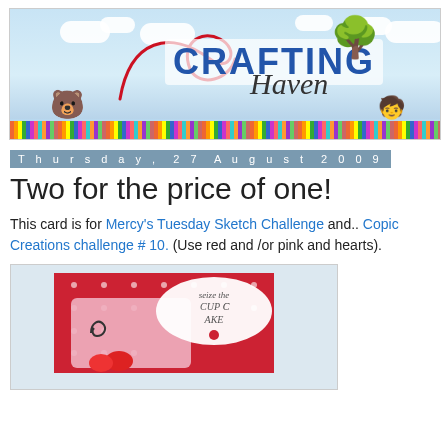[Figure (illustration): Crafting Haven blog banner with sky, clouds, colorful pencils along bottom, illustrated bear and child characters, decorative tree, red swirl design, and blog title 'CRAFTING Haven']
Thursday, 27 August 2009
Two for the price of one!
This card is for Mercy's Tuesday Sketch Challenge and.. Copic Creations challenge # 10. (Use red and /or pink and hearts).
[Figure (photo): Handmade card with red polka-dot background, pink cupcake shape, 'seize the cupcake' text on white scalloped label, strawberry illustration, decorative swirl, and text at bottom]